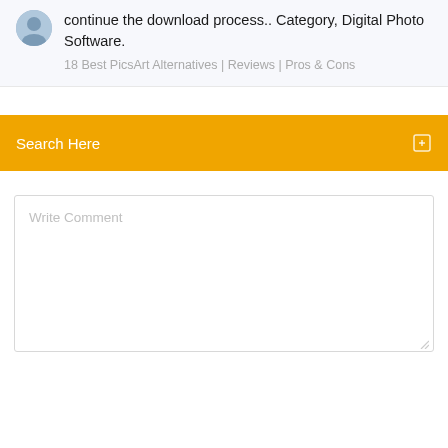continue the download process.. Category, Digital Photo Software.
18 Best PicsArt Alternatives | Reviews | Pros & Cons
Search Here
Write Comment